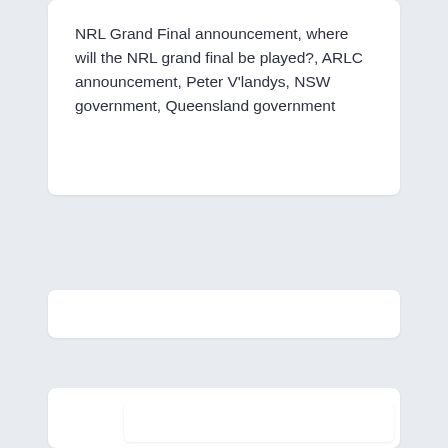NRL Grand Final announcement, where will the NRL grand final be played?, ARLC announcement, Peter V'landys, NSW government, Queensland government